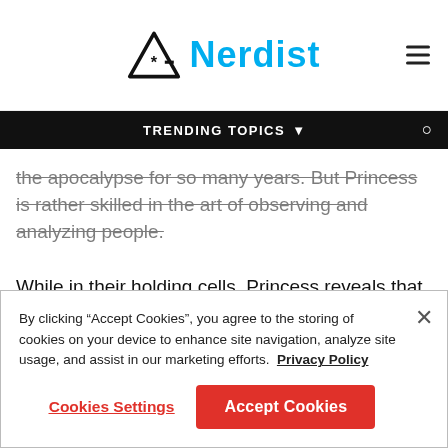Nerdist
TRENDING TOPICS
the apocalypse for so many years. But Princess is rather skilled in the art of observing and analyzing people.
While in their holding cells, Princess reveals that she knows about a secret affair between two Commonwealth soldiers and their daily schedule. Of course, their plan to escape goes kaput but her ability to pick up on so many minute details is awesome.
By clicking “Accept Cookies”, you agree to the storing of cookies on your device to enhance site navigation, analyze site usage, and assist in our marketing efforts.  Privacy Policy